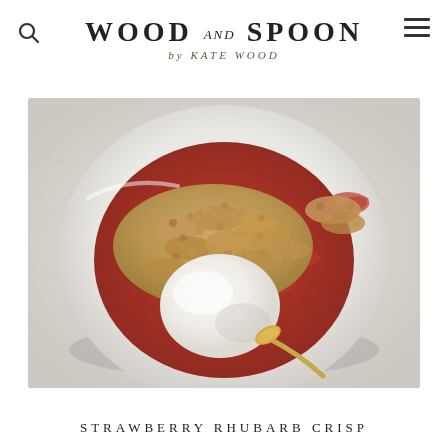WOOD and SPOON by KATE WOOD
[Figure (photo): Overhead view of a white bowl containing strawberry rhubarb crisp with oat crumble topping and a scoop of vanilla ice cream, with a gold spoon, on a white marble surface.]
STRAWBERRY RHUBARB CRISP